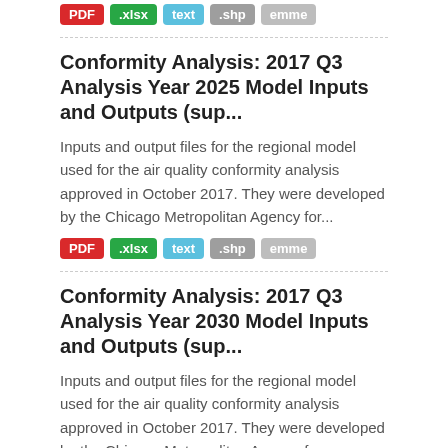PDF .xlsx text .shp emme
Conformity Analysis: 2017 Q3 Analysis Year 2025 Model Inputs and Outputs (sup...
Inputs and output files for the regional model used for the air quality conformity analysis approved in October 2017. They were developed by the Chicago Metropolitan Agency for...
PDF .xlsx text .shp emme
Conformity Analysis: 2017 Q3 Analysis Year 2030 Model Inputs and Outputs (sup...
Inputs and output files for the regional model used for the air quality conformity analysis approved in October 2017. They were developed by the Chicago Metropolitan Agency for...
PDF .xlsx text .shp emme
Conformity Analysis: 2017 Q3 Analysis Year 2040